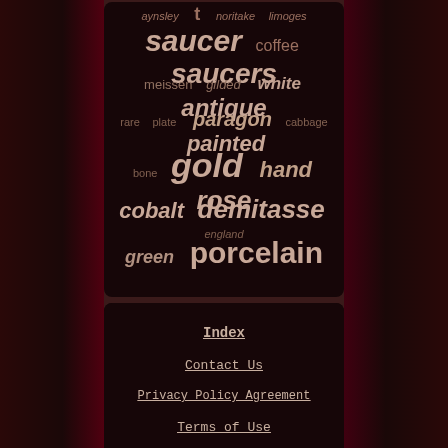[Figure (other): Word cloud on dark background featuring porcelain/china related terms: aynsley, t, noritake, limoges, saucer, coffee, saucers, meissen, gilded, white, antique, rare, plate, paragon, cabbage, painted, bone, gold, hand, rose, cobalt, demitasse, england, green, porcelain]
Index
Contact Us
Privacy Policy Agreement
Terms of Use